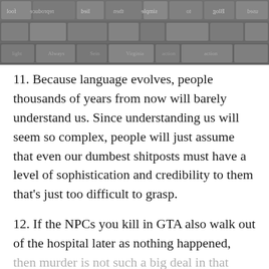[Figure (photo): Close-up photograph of metal movable type printing blocks arranged in rows, showing reversed letters and words in metallic gray.]
11. Because language evolves, people thousands of years from now will barely understand us. Since understanding us will seem so complex, people will just assume that even our dumbest shitposts must have a level of sophistication and credibility to them that's just too difficult to grasp.
12. If the NPCs you kill in GTA also walk out of the hospital later as nothing happened, then murder is not such a big deal in that